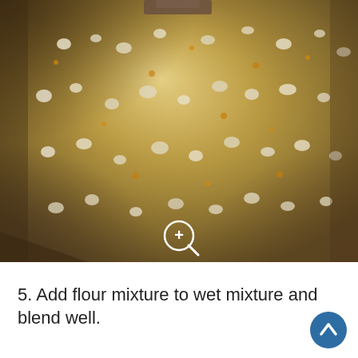[Figure (photo): Close-up macro photo of a wet flour and egg mixture in a bowl, showing a lumpy, grainy, golden-brown batter texture with white clumps and yellow specks. A utensil is visible at the top edge. A magnifying glass zoom icon is overlaid near the bottom center.]
5. Add flour mixture to wet mixture and blend well.